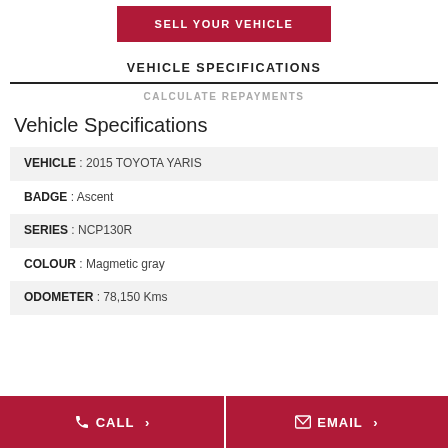SELL YOUR VEHICLE
VEHICLE SPECIFICATIONS
CALCULATE REPAYMENTS
Vehicle Specifications
| VEHICLE | 2015 TOYOTA YARIS |
| BADGE | Ascent |
| SERIES | NCP130R |
| COLOUR | Magmetic gray |
| ODOMETER | 78,150 Kms |
CALL >
EMAIL >